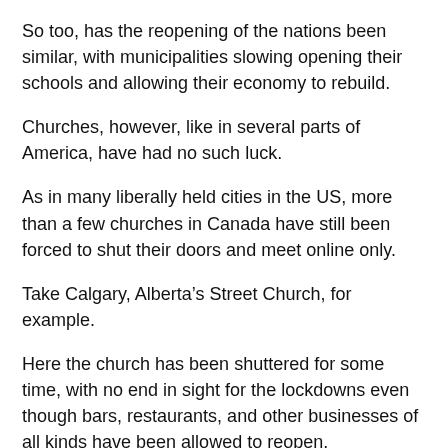So too, has the reopening of the nations been similar, with municipalities slowing opening their schools and allowing their economy to rebuild.
Churches, however, like in several parts of America, have had no such luck.
As in many liberally held cities in the US, more than a few churches in Canada have still been forced to shut their doors and meet online only.
Take Calgary, Alberta’s Street Church, for example.
Here the church has been shuttered for some time, with no end in sight for the lockdowns even though bars, restaurants, and other businesses of all kinds have been allowed to reopen.
And so, Pastor Artur Pawlowski has decided to buck the restrictions and open his doors anyway.  Of course, this didn’t sit well with local liberal leaders, and so the authorities